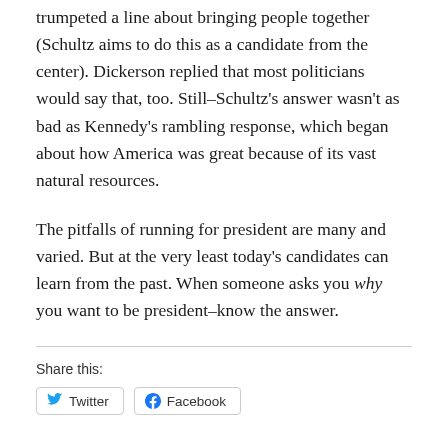trumpeted a line about bringing people together (Schultz aims to do this as a candidate from the center). Dickerson replied that most politicians would say that, too. Still–Schultz's answer wasn't as bad as Kennedy's rambling response, which began about how America was great because of its vast natural resources.
The pitfalls of running for president are many and varied. But at the very least today's candidates can learn from the past. When someone asks you why you want to be president–know the answer.
Share this: